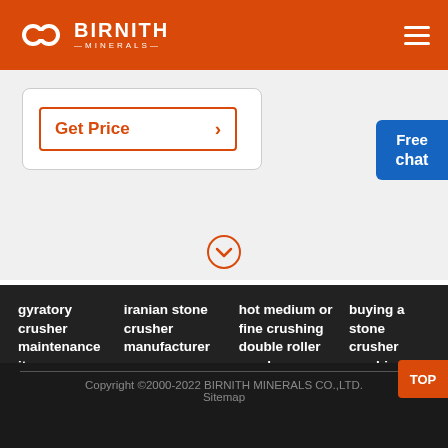BIRNITH MINERALS
Get Price
[Figure (other): Chevron down circle icon in orange/white]
[Figure (other): Free chat button widget, blue background]
gyratory crusher maintenance items   iranian stone crusher manufacturer   hot medium or fine crushing double roller crusher   buying a stone crusher machi
Company Address: No. 1688, Gaoke East Road,Pudong new district, Shanghai, China.
Copyright ©2000-2022 BIRNITH MINERALS CO.,LTD. Sitemap